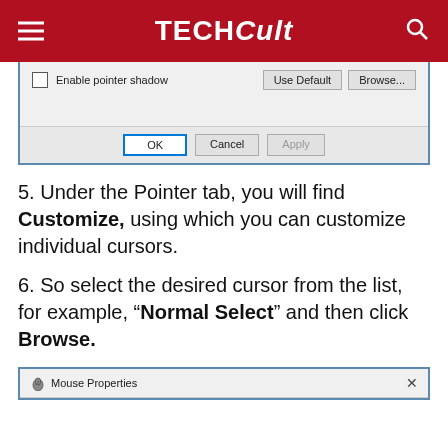TECHCult
[Figure (screenshot): Windows dialog box showing bottom portion with 'Enable pointer shadow' checkbox, Use Default and Browse buttons, and OK, Cancel, Apply buttons at the bottom]
5. Under the Pointer tab, you will find Customize, using which you can customize individual cursors.
6. So select the desired cursor from the list, for example, "Normal Select" and then click Browse.
[Figure (screenshot): Mouse Properties dialog window title bar showing the window header with close button]